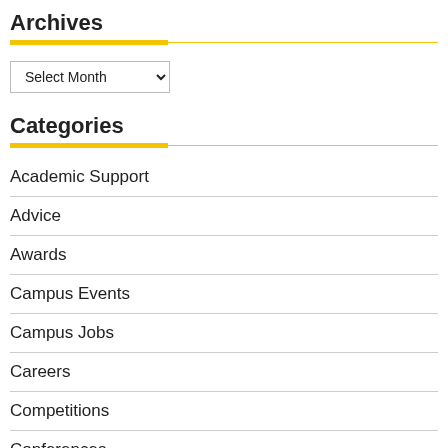Archives
Select Month
Categories
Academic Support
Advice
Awards
Campus Events
Campus Jobs
Careers
Competitions
Conferences